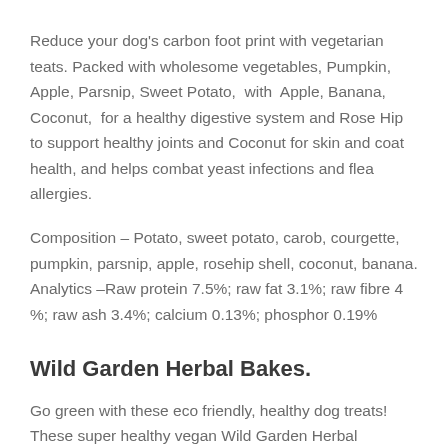Reduce your dog's carbon foot print with vegetarian teats. Packed with wholesome vegetables, Pumpkin, Apple, Parsnip, Sweet Potato,  with  Apple, Banana, Coconut,  for a healthy digestive system and Rose Hip to support healthy joints and Coconut for skin and coat health, and helps combat yeast infections and flea allergies.
Composition – Potato, sweet potato, carob, courgette, pumpkin, parsnip, apple, rosehip shell, coconut, banana. Analytics –Raw protein 7.5%; raw fat 3.1%; raw fibre 4 %; raw ash 3.4%; calcium 0.13%; phosphor 0.19%
Wild Garden Herbal Bakes.
Go green with these eco friendly, healthy dog treats! These super healthy vegan Wild Garden Herbal